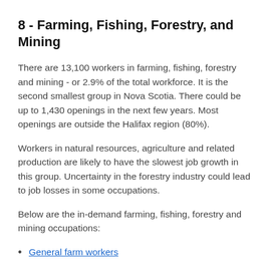8 - Farming, Fishing, Forestry, and Mining
There are 13,100 workers in farming, fishing, forestry and mining - or 2.9% of the total workforce. It is the second smallest group in Nova Scotia. There could be up to 1,430 openings in the next few years. Most openings are outside the Halifax region (80%).
Workers in natural resources, agriculture and related production are likely to have the slowest job growth in this group. Uncertainty in the forestry industry could lead to job losses in some occupations.
Below are the in-demand farming, fishing, forestry and mining occupations:
General farm workers